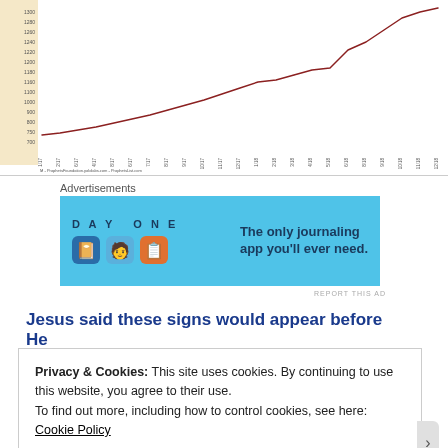[Figure (continuous-plot): Line chart showing an upward trending curve over time from roughly 1/17 to 11/18, with y-axis values ranging from approximately 700 to 1300+. The line is dark red/maroon and rises steeply toward the right side.]
Advertisements
[Figure (other): DAY ONE app advertisement banner on blue background. Text reads: DAY ONE - The only journaling app you'll ever need.]
REPORT THIS AD
Jesus said these signs would appear before He
Privacy & Cookies: This site uses cookies. By continuing to use this website, you agree to their use.
To find out more, including how to control cookies, see here: Cookie Policy
Close and accept